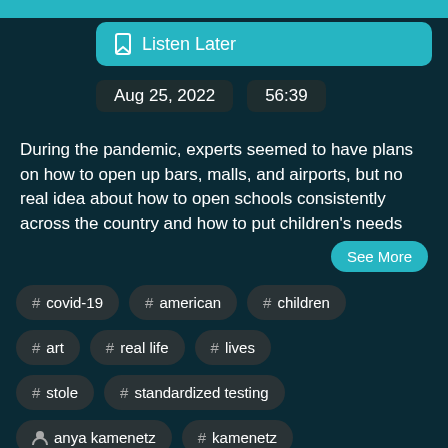Listen Later
Aug 25, 2022   56:39
During the pandemic, experts seemed to have plans on how to open up bars, malls, and airports, but no real idea about how to open schools consistently across the country and how to put children's needs
See More
# covid-19
# american
# children
# art
# real life
# lives
# stole
# standardized testing
anya kamenetz
# kamenetz